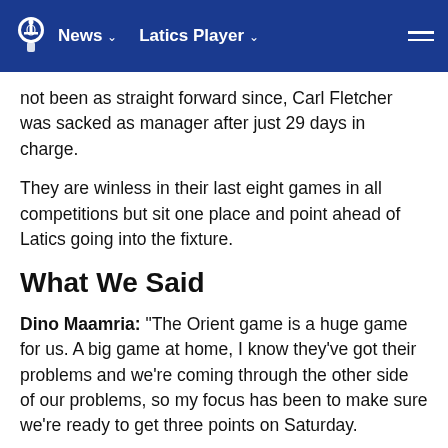News  Latics Player
not been as straight forward since, Carl Fletcher was sacked as manager after just 29 days in charge.
They are winless in their last eight games in all competitions but sit one place and point ahead of Latics going into the fixture.
What We Said
Dino Maamria: "The Orient game is a huge game for us. A big game at home, I know they've got their problems and we're coming through the other side of our problems, so my focus has been to make sure we're ready to get three points on Saturday.
"To be fair their results do not reflect their performance because I've been watching their previous games. In the